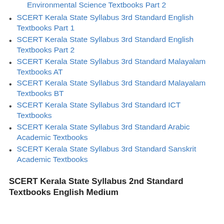Environmental Science Textbooks Part 2
SCERT Kerala State Syllabus 3rd Standard English Textbooks Part 1
SCERT Kerala State Syllabus 3rd Standard English Textbooks Part 2
SCERT Kerala State Syllabus 3rd Standard Malayalam Textbooks AT
SCERT Kerala State Syllabus 3rd Standard Malayalam Textbooks BT
SCERT Kerala State Syllabus 3rd Standard ICT Textbooks
SCERT Kerala State Syllabus 3rd Standard Arabic Academic Textbooks
SCERT Kerala State Syllabus 3rd Standard Sanskrit Academic Textbooks
SCERT Kerala State Syllabus 2nd Standard Textbooks English Medium